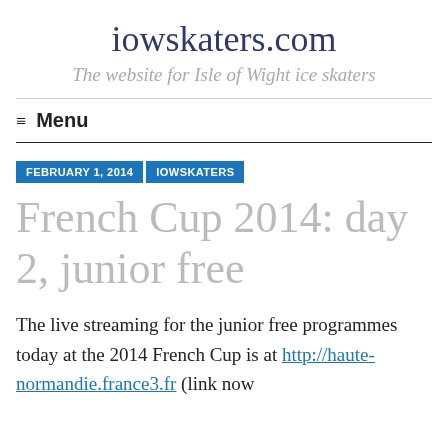iowskaters.com
The website for Isle of Wight ice skaters
≡ Menu
FEBRUARY 1, 2014   IOWSKATERS
French Cup 2014: day 2, junior free
The live streaming for the junior free programmes today at the 2014 French Cup is at http://haute-normandie.france3.fr (link now